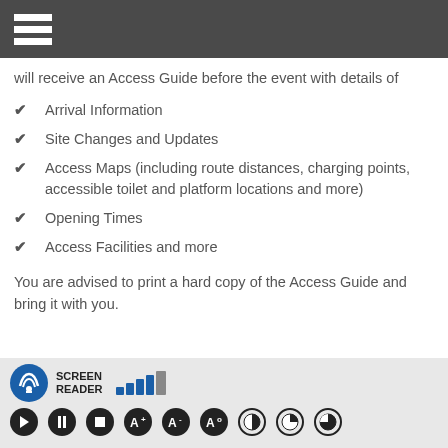Menu
will receive an Access Guide before the event with details of
Arrival Information
Site Changes and Updates
Access Maps (including route distances, charging points, accessible toilet and platform locations and more)
Opening Times
Access Facilities and more
You are advised to print a hard copy of the Access Guide and bring it with you.
SCREEN READER — accessibility toolbar with screen reader, signal bars, and control buttons